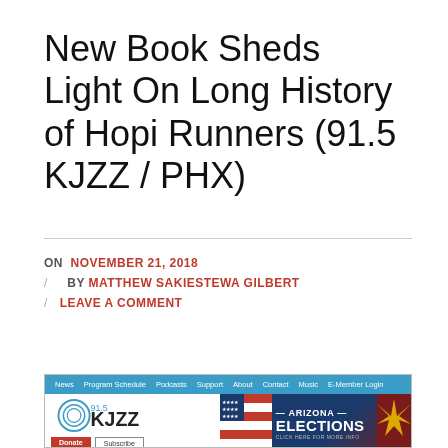New Book Sheds Light On Long History of Hopi Runners (91.5 KJZZ / PHX)
ON NOVEMBER 21, 2018
BY MATTHEW SAKIESTEWA GILBERT
LEAVE A COMMENT
[Figure (screenshot): Screenshot of KJZZ 91.5 radio station website showing navigation bar, KJZZ logo, Donate and Subscribe buttons, and Arizona Elections banner with US flag and Arizona state graphic]